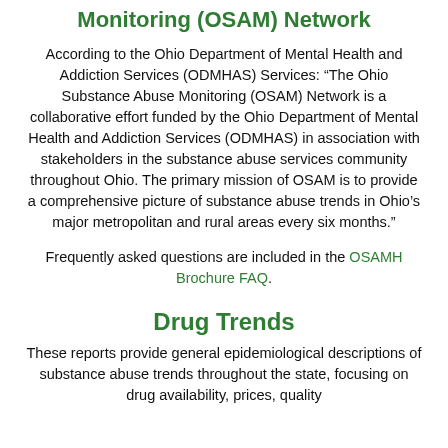Monitoring (OSAM) Network
According to the Ohio Department of Mental Health and Addiction Services (ODMHAS) Services: “The Ohio Substance Abuse Monitoring (OSAM) Network is a collaborative effort funded by the Ohio Department of Mental Health and Addiction Services (ODMHAS) in association with stakeholders in the substance abuse services community throughout Ohio. The primary mission of OSAM is to provide a comprehensive picture of substance abuse trends in Ohio’s major metropolitan and rural areas every six months.”
Frequently asked questions are included in the OSAMH Brochure FAQ.
Drug Trends
These reports provide general epidemiological descriptions of substance abuse trends throughout the state, focusing on drug availability, prices, quality